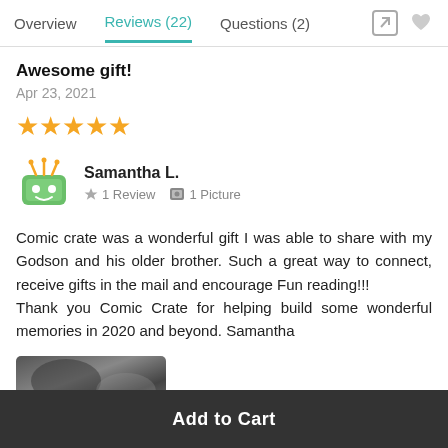Overview  Reviews (22)  Questions (2)
Awesome gift!
Apr 23, 2021
[Figure (other): 5 gold stars rating]
[Figure (illustration): Green cartoon monster avatar for user Samantha L., with 1 Review and 1 Picture badges]
Comic crate was a wonderful gift I was able to share with my Godson and his older brother. Such a great way to connect, receive gifts in the mail and encourage Fun reading!!!
Thank you Comic Crate for helping build some wonderful memories in 2020 and beyond. Samantha
[Figure (photo): Partial photo thumbnail at bottom of review]
Add to Cart